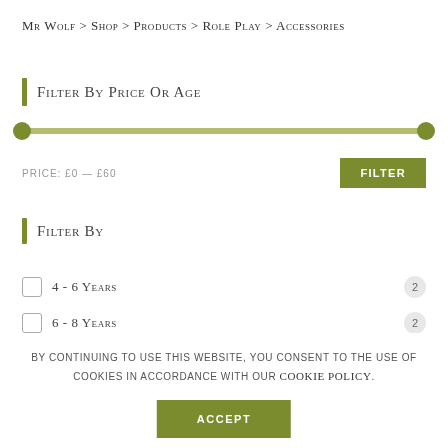Mr Wolf > Shop > Products > Role Play > Accessories
Filter By Price Or Age
[Figure (other): A range slider with two green circular handles on a green track, spanning the full width]
PRICE: £0 — £60
Filter By
4 - 6 Years  2
6 - 8 Years  2
18 Months+  1
By continuing to use this website, you consent to the use of cookies in accordance with our Cookie Policy.
ACCEPT